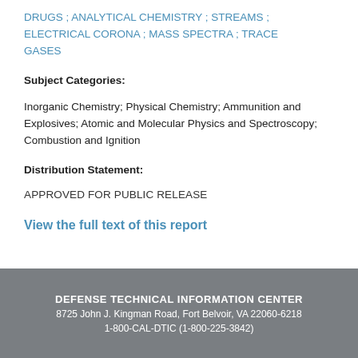DRUGS ; ANALYTICAL CHEMISTRY ; STREAMS ; ELECTRICAL CORONA ; MASS SPECTRA ; TRACE GASES
Subject Categories:
Inorganic Chemistry; Physical Chemistry; Ammunition and Explosives; Atomic and Molecular Physics and Spectroscopy; Combustion and Ignition
Distribution Statement:
APPROVED FOR PUBLIC RELEASE
View the full text of this report
DEFENSE TECHNICAL INFORMATION CENTER
8725 John J. Kingman Road, Fort Belvoir, VA 22060-6218
1-800-CAL-DTIC (1-800-225-3842)